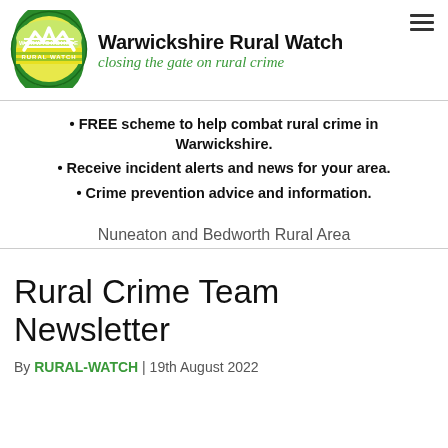[Figure (logo): Warwickshire Rural Watch circular logo with green border, showing a gate/field design with yellow gradient background, white text reading WARWICKSHIRE on top and RURAL WATCH on bottom]
Warwickshire Rural Watch
closing the gate on rural crime
FREE scheme to help combat rural crime in Warwickshire.
Receive incident alerts and news for your area.
Crime prevention advice and information.
Nuneaton and Bedworth Rural Area
Rural Crime Team Newsletter
By RURAL-WATCH | 19th August 2022